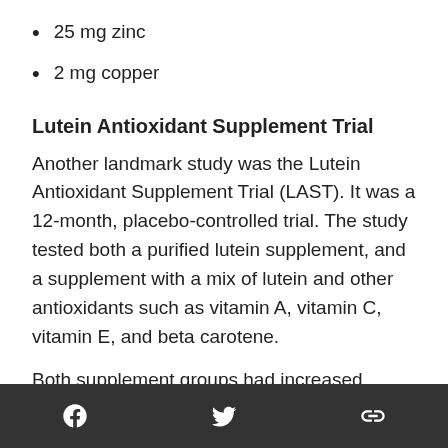25 mg zinc
2 mg copper
Lutein Antioxidant Supplement Trial
Another landmark study was the Lutein Antioxidant Supplement Trial (LAST). It was a 12-month, placebo-controlled trial. The study tested both a purified lutein supplement, and a supplement with a mix of lutein and other antioxidants such as vitamin A, vitamin C, vitamin E, and beta carotene.
Both supplement groups had increased pigment density in the retina. Tests showed the supplements helped support visual acuity and
Facebook | Twitter | Link